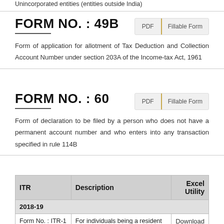Unincorporated entities (entities outside India)
FORM NO. : 49B
Form of application for allotment of Tax Deduction and Collection Account Number under section 203A of the Income-tax Act, 1961
FORM NO. : 60
Form of declaration to be filed by a person who does not have a permanent account number and who enters into any transaction specified in rule 114B
| ITR | Description | Excel Utility |
| --- | --- | --- |
| 2018-19 |  |  |
| Form No. : ITR-1 SAHAJ | For individuals being a resident other than not ordinarily resident having Income from Salaries, one | Download |